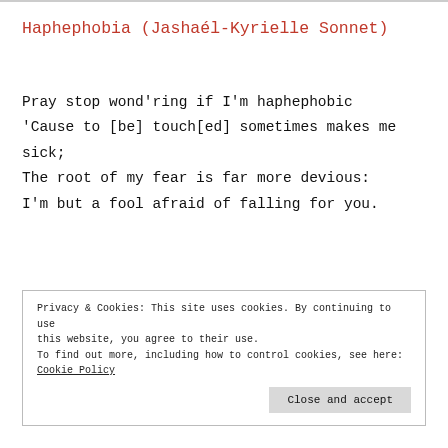Haphephobia (Jashaél-Kyrielle Sonnet)
Pray stop wond'ring if I'm haphephobic
'Cause to [be] touch[ed] sometimes makes me sick;
The root of my fear is far more devious:
I'm but a fool afraid of falling for you.
Privacy & Cookies: This site uses cookies. By continuing to use this website, you agree to their use.
To find out more, including how to control cookies, see here:
Cookie Policy
Close and accept